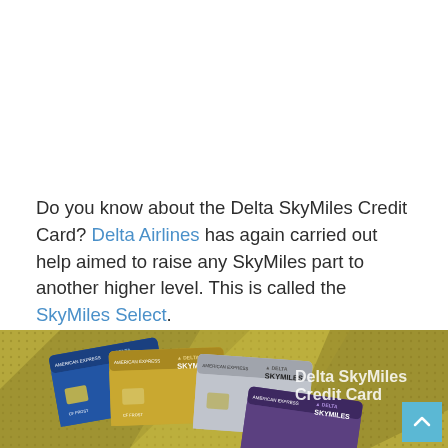Do you know about the Delta SkyMiles Credit Card? Delta Airlines has again carried out help aimed to raise any SkyMiles part to another higher level. This is called the SkyMiles Select.
[Figure (photo): Image showing multiple Delta SkyMiles American Express credit cards (blue, gold, silver, purple) arranged in an overlapping fan on a gold/olive dotted background. Text reads 'Delta SkyMiles Credit Card'.]